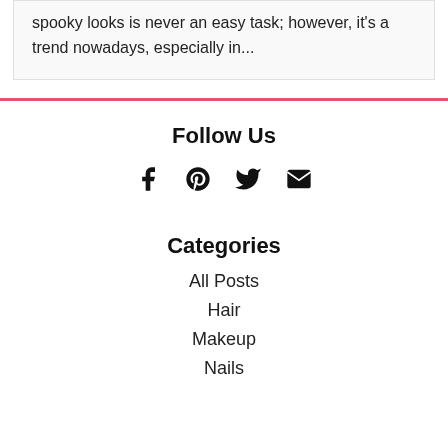spooky looks is never an easy task; however, it's a trend nowadays, especially in...
Follow Us
[Figure (infographic): Social media icons: Facebook, Pinterest, Twitter, Email]
Categories
All Posts
Hair
Makeup
Nails